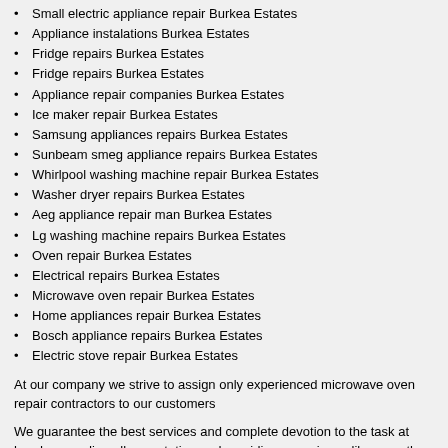Small electric appliance repair Burkea Estates
Appliance instalations Burkea Estates
Fridge repairs Burkea Estates
Fridge repairs Burkea Estates
Appliance repair companies Burkea Estates
Ice maker repair Burkea Estates
Samsung appliances repairs Burkea Estates
Sunbeam smeg appliance repairs Burkea Estates
Whirlpool washing machine repair Burkea Estates
Washer dryer repairs Burkea Estates
Aeg appliance repair man Burkea Estates
Lg washing machine repairs Burkea Estates
Oven repair Burkea Estates
Electrical repairs Burkea Estates
Microwave oven repair Burkea Estates
Home appliances repair Burkea Estates
Bosch appliance repairs Burkea Estates
Electric stove repair Burkea Estates
At our company we strive to assign only experienced microwave oven repair contractors to our customers
We guarantee the best services and complete devotion to the task at hand, exceeding all expectation and providing a service unlike any other
We are the best Fridge repairs company in Burkea Estates so give us a call at: 010 880 2781 today!